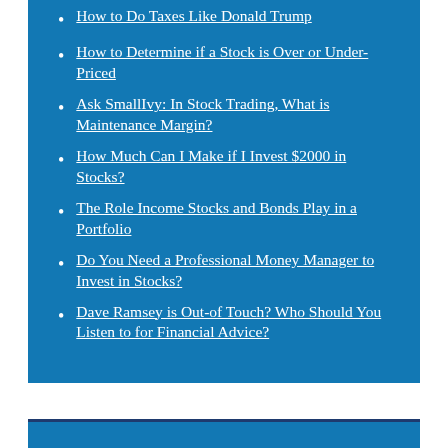How to Do Taxes Like Donald Trump
How to Determine if a Stock is Over or Under-Priced
Ask SmallIvy: In Stock Trading, What is Maintenance Margin?
How Much Can I Make if I Invest $2000 in Stocks?
The Role Income Stocks and Bonds Play in a Portfolio
Do You Need a Professional Money Manager to Invest in Stocks?
Dave Ramsey is Out-of Touch? Who Should You Listen to for Financial Advice?
Shop Amazon - Used Textbooks - Save up to 90%